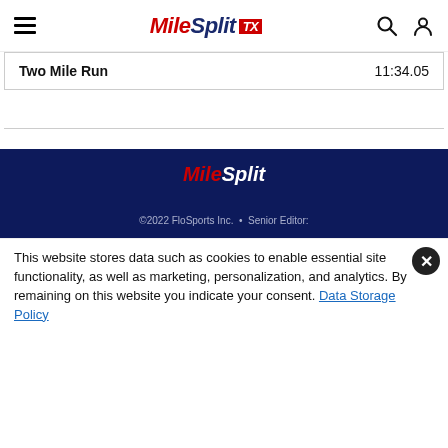MileSplit TX
| Event | Time |
| --- | --- |
| Two Mile Run | 11:34.05 |
[Figure (other): MileSplit footer logo on dark navy background]
©2022 FloSports Inc. • Senior Editor:
This website stores data such as cookies to enable essential site functionality, as well as marketing, personalization, and analytics. By remaining on this website you indicate your consent. Data Storage Policy